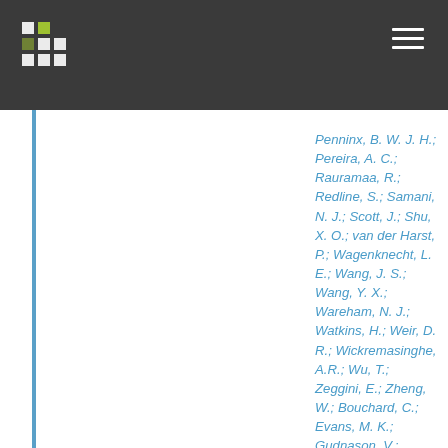Navigation header with logo and menu icon
Penninx, B. W. J. H.; Pereira, A. C.; Rauramaa, R.; Redline, S.; Samani, N. J.; Scott, J.; Shu, X. O.; van der Harst, P.; Wagenknecht, L. E.; Wang, J. S.; Wang, Y. X.; Wareham, N. J.; Watkins, H.; Weir, D. R.; Wickremasinghe, A.R.; Wu, T.; Zeggini, E.; Zheng, W.; Bouchard, C.; Evans, M. K.; Gudnason, V.; Kardia, S. L. R.; Liu, Y.; Psaty, B. M.; Ridker, P. M.; van Dam, R. M.; Mook-